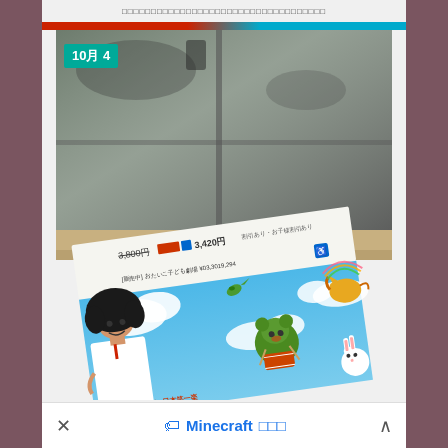□□□□□□□□□□□□□□□□□□□□□□□□□□□□□□□□□□□□□
[Figure (photo): A photograph showing a glass door/window reflecting the surroundings, with a colorful Japanese children's show flyer/ticket in the foreground. The flyer shows a man with wild hair, cartoon animals (bear, rabbit, horse, bird) on a blue sky with clouds background. Price text reads 3,800円 and 3,420円. A teal date badge in upper left reads '10月 4'.]
Minecraft □□□